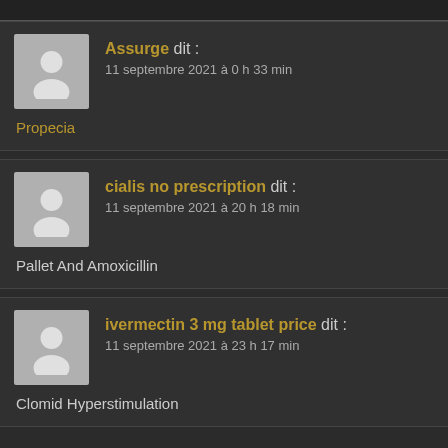Assurge dit : 11 septembre 2021 à 0 h 33 min
Propecia
cialis no prescription dit : 11 septembre 2021 à 20 h 18 min
Pallet And Amoxicillin
ivermectin 3 mg tablet price dit : 11 septembre 2021 à 23 h 17 min
Clomid Hyperstimulation